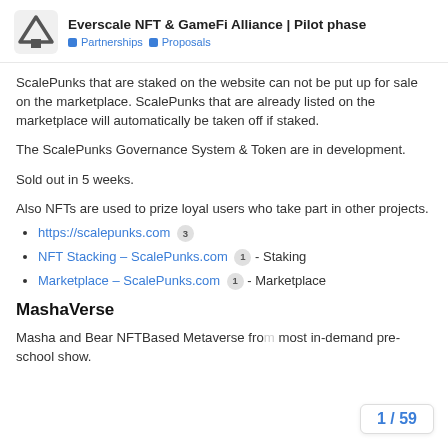Everscale NFT & GameFi Alliance | Pilot phase — Partnerships — Proposals
ScalePunks that are staked on the website can not be put up for sale on the marketplace. ScalePunks that are already listed on the marketplace will automatically be taken off if staked.
The ScalePunks Governance System & Token are in development.
Sold out in 5 weeks.
Also NFTs are used to prize loyal users who take part in other projects.
https://scalepunks.com [3]
NFT Stacking – ScalePunks.com [1] - Staking
Marketplace – ScalePunks.com [1] - Marketplace
MashaVerse
Masha and Bear NFTBased Metaverse from most in-demand pre-school show.
1 / 59